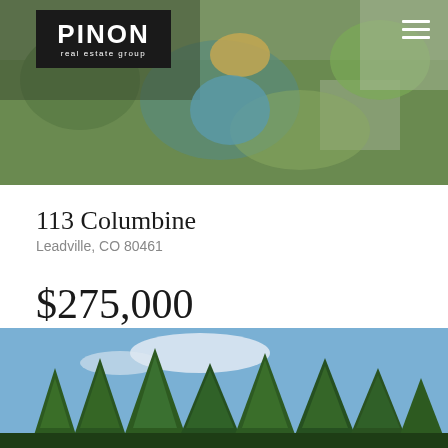[Figure (photo): Top banner photo of a person gardening in a colorful garden with pots and plants]
[Figure (logo): PINON real estate group logo in white text on black background]
113 Columbine
Leadville, CO 80461
$275,000
[Figure (illustration): Fence/acreage icon]
6.78
Acres
[Figure (photo): Bottom banner photo showing tall pine trees against a blue sky]